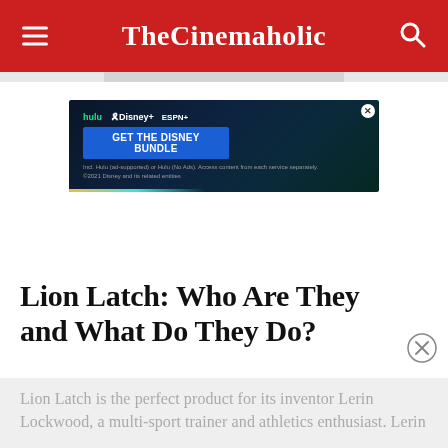TheCinemaholic
[Figure (screenshot): Disney Bundle advertisement banner with Hulu, Disney+, ESPN+ logos and 'GET THE DISNEY BUNDLE' call to action on dark background]
Lion Latch: Who Are They and What Do They Do?
Lion Latch is the perfect product for its inventor Lerin Lockwood, a multi-sport trainer and athletics enthusiast. Lerin